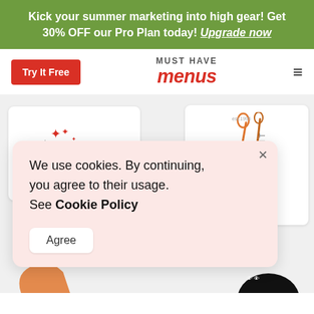Kick your summer marketing into high gear! Get 30% OFF our Pro Plan today! Upgrade now
Try It Free
MUST HAVE menus
[Figure (screenshot): Website screenshot showing restaurant logo examples including Jack's and Amy's Kitchen logos partially visible behind a cookie consent overlay]
We use cookies. By continuing, you agree to their usage. See Cookie Policy
Agree